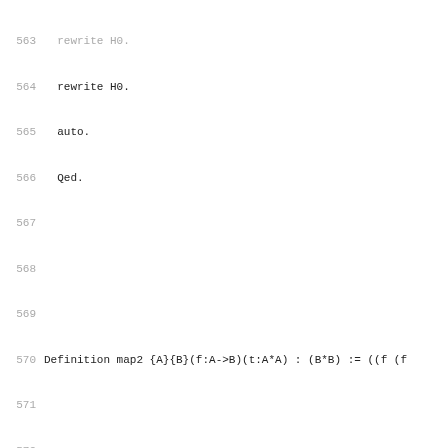Coq proof assistant source code lines 564-595
564    rewrite H0.
565    auto.
566    Qed.
567
568
569
570 Definition map2 {A}{B}(f:A->B)(t:A*A) : (B*B) := ((f (f
571
572
573
574 (* the Error monad *)
575 Inductive OrError (T:Type) :=
576 | Error : forall error_message:string, OrError T
577 | OK    : T       -> OrError T.
578 Notation "??? T" := (OrError T) (at level 10).
579 Implicit Arguments Error [T].
580 Implicit Arguments OK [T].
581
582 Definition orErrorBind {T:Type} (oe:OrError T) {Q:Type}
583    match oe with
584         | Error s => Error s
585         | OK    t => f t
586    end.
587 Notation "a >>= b" := (@orErrorBind _ a _ b) (at level
588
589 Inductive Indexed {T:Type}(f:T -> Type) : ???T -> Type
590 | Indexed_Error : forall error_message:string, Indexed
591 | Indexed_OK    : forall t, f t -> Indexed f (OK t)
592 .
593
594
595 Require Import Coq.Arith.EqNat.